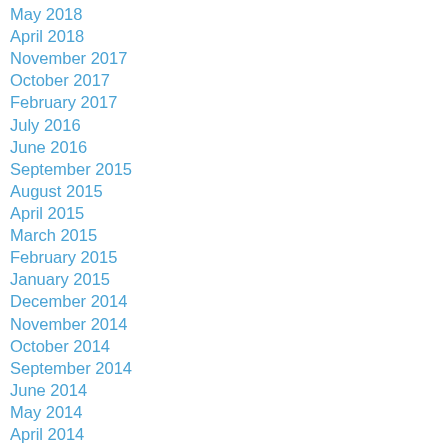May 2018
April 2018
November 2017
October 2017
February 2017
July 2016
June 2016
September 2015
August 2015
April 2015
March 2015
February 2015
January 2015
December 2014
November 2014
October 2014
September 2014
June 2014
May 2014
April 2014
March 2014